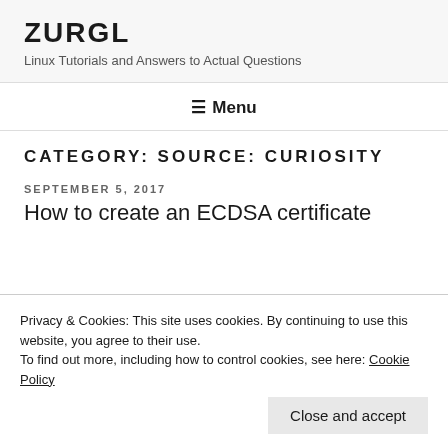ZURGL
Linux Tutorials and Answers to Actual Questions
≡ Menu
CATEGORY: SOURCE: CURIOSITY
SEPTEMBER 5, 2017
How to create an ECDSA certificate
Privacy & Cookies: This site uses cookies. By continuing to use this website, you agree to their use.
To find out more, including how to control cookies, see here: Cookie Policy
Close and accept